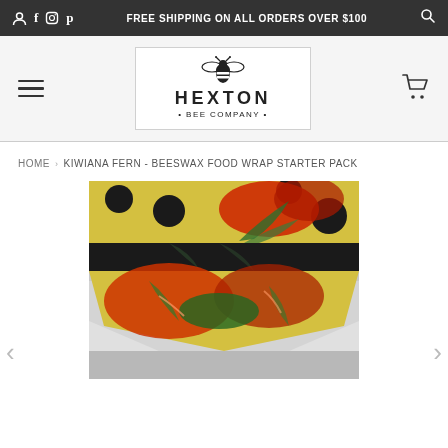FREE SHIPPING ON ALL ORDERS OVER $100
[Figure (logo): Hexton Bee Company logo with bee illustration above text HEXTON BEE COMPANY in a circular badge style]
HOME › KIWIANA FERN - BEESWAX FOOD WRAP STARTER PACK
[Figure (photo): Product photo of Kiwiana Fern Beeswax Food Wrap Starter Pack showing wrapped folded fabric with red floral and fern patterns in yellow, red, green, and black on a grey/silver packaging background]